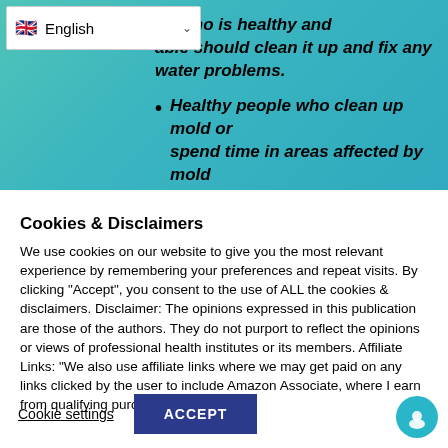ne who is healthy and able should clean it up and fix any water problems.
Healthy people who clean up mold or spend time in areas affected by mold should wear full protective clothing
Cookies & Disclaimers
We use cookies on our website to give you the most relevant experience by remembering your preferences and repeat visits. By clicking "Accept", you consent to the use of ALL the cookies & disclaimers. Disclaimer: The opinions expressed in this publication are those of the authors. They do not purport to reflect the opinions or views of professional health institutes or its members. Affiliate Links: "We also use affiliate links where we may get paid on any links clicked by the user to include Amazon Associate, where I earn from qualifying purchases"
Cookie settings
ACCEPT